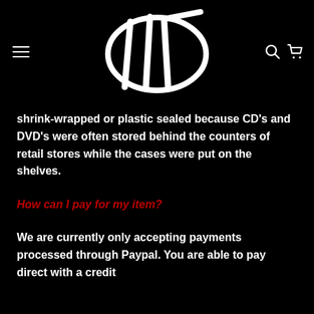[Figure (logo): White hand-drawn logo with an oval and stylized letters on black background, with hamburger menu icon on the left and search/cart icons on the right]
shrink-wrapped or plastic sealed because CD’s and DVD’s were often stored behind the counters of retail stores while the cases were put on the shelves.
How can I pay for my item?
We are currently only accepting payments processed through Paypal. You are able to pay direct with a credit